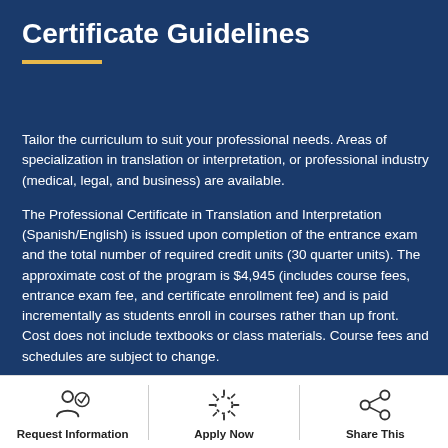Certificate Guidelines
Tailor the curriculum to suit your professional needs. Areas of specialization in translation or interpretation, or professional industry (medical, legal, and business) are available.
The Professional Certificate in Translation and Interpretation (Spanish/English) is issued upon completion of the entrance exam and the total number of required credit units (30 quarter units). The approximate cost of the program is $4,945 (includes course fees, entrance exam fee, and certificate enrollment fee) and is paid incrementally as students enroll in courses rather than up front. Cost does not include textbooks or class materials. Course fees and schedules are subject to change.
Request Information | Apply Now | Share This